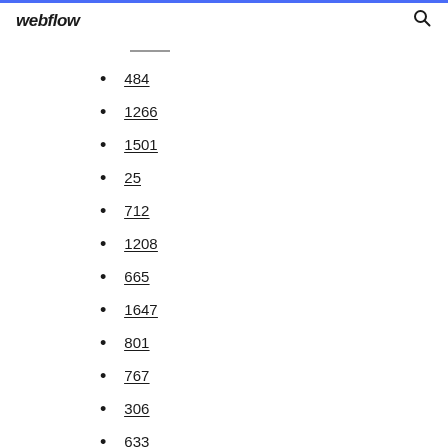webflow
484
1266
1501
25
712
1208
665
1647
801
767
306
633